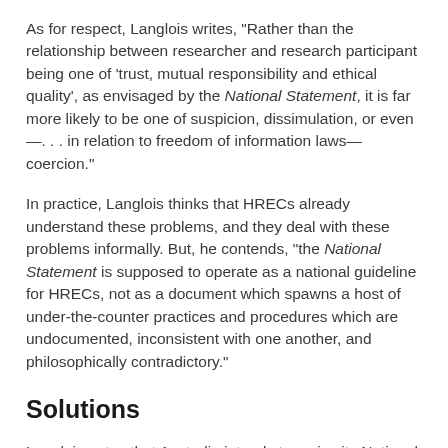As for respect, Langlois writes, "Rather than the relationship between researcher and research participant being one of 'trust, mutual responsibility and ethical quality', as envisaged by the National Statement, it is far more likely to be one of suspicion, dissimulation, or even—. . . in relation to freedom of information laws—coercion."
In practice, Langlois thinks that HRECs already understand these problems, and they deal with these problems informally. But, he contends, "the National Statement is supposed to operate as a national guideline for HRECs, not as a document which spawns a host of under-the-counter practices and procedures which are undocumented, inconsistent with one another, and philosophically contradictory."
Solutions
Langlois notes that Australia intends to revise its National Statement "at least every five years." (Take that, you thirty-year-old 45 CFR 46!) In preparation for the 2012 revision, he